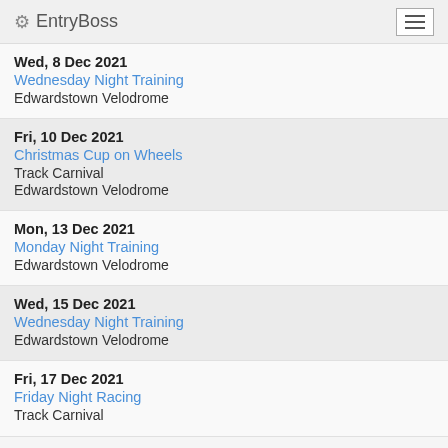EntryBoss
Wed, 8 Dec 2021
Wednesday Night Training
Edwardstown Velodrome
Fri, 10 Dec 2021
Christmas Cup on Wheels
Track Carnival
Edwardstown Velodrome
Mon, 13 Dec 2021
Monday Night Training
Edwardstown Velodrome
Wed, 15 Dec 2021
Wednesday Night Training
Edwardstown Velodrome
Fri, 17 Dec 2021
Friday Night Racing
Track Carnival